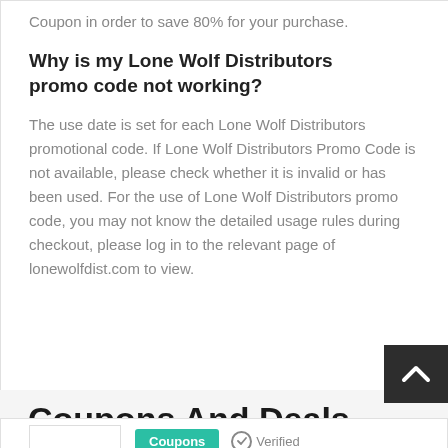Coupon in order to save 80% for your purchase.
Why is my Lone Wolf Distributors promo code not working?
The use date is set for each Lone Wolf Distributors promotional code. If Lone Wolf Distributors Promo Code is not available, please check whether it is invalid or has been used. For the use of Lone Wolf Distributors promo code, you may not know the detailed usage rules during checkout, please log in to the relevant page of lonewolfdist.com to view.
Coupons And Deals From Simi... Stores
Coupons  ✓ Verified